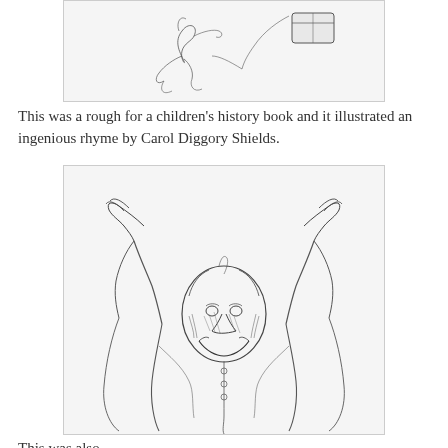[Figure (illustration): Rough pencil sketch for a children's history book — loose line drawing of a small flying figure with what appears to be a box or object in the upper right]
This was a rough for a children's history book and it illustrated an ingenious rhyme by Carol Diggory Shields.
[Figure (illustration): Rough pencil sketch of a caricature figure (resembling Nixon) with both arms raised making V-signs, wearing robes, with an exaggerated grinning face]
This was also...